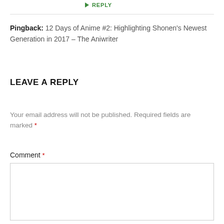↪ REPLY
Pingback: 12 Days of Anime #2: Highlighting Shonen's Newest Generation in 2017 – The Aniwriter
LEAVE A REPLY
Your email address will not be published. Required fields are marked *
Comment *